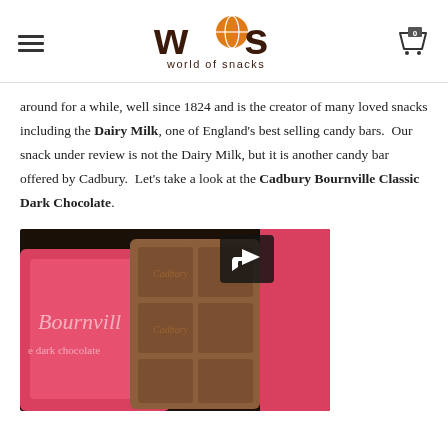WOS world of snacks
around for a while, well since 1824 and is the creator of many loved snacks including the Dairy Milk, one of England's best selling candy bars.  Our snack under review is not the Dairy Milk, but it is another candy bar offered by Cadbury.  Let's take a look at the Cadbury Bournville Classic Dark Chocolate.
[Figure (photo): Photo of Cadbury Bournville Classic Dark Chocolate bar broken into squares, with pink Bournville packaging visible in the background. A share icon button appears in the top-right of the image.]